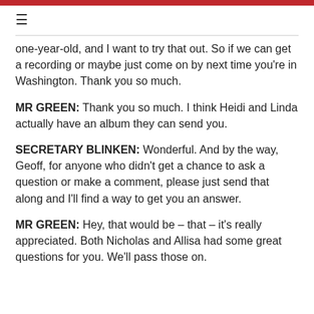≡
one-year-old, and I want to try that out. So if we can get a recording or maybe just come on by next time you're in Washington. Thank you so much.
MR GREEN: Thank you so much. I think Heidi and Linda actually have an album they can send you.
SECRETARY BLINKEN: Wonderful. And by the way, Geoff, for anyone who didn't get a chance to ask a question or make a comment, please just send that along and I'll find a way to get you an answer.
MR GREEN: Hey, that would be – that – it's really appreciated. Both Nicholas and Allisa had some great questions for you. We'll pass those on.